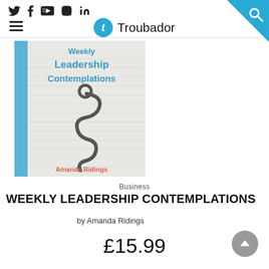Troubador — social icons and navigation header
[Figure (illustration): Book cover for 'Weekly Leadership Contemplations' by Amanda Ridings. Light grey/white background with blue stripe on left side. Title text in blue reads 'Leadership Contemplations'. A stylized snake/question mark illustration in dark grey in the center. Author name 'Amanda Ridings' in coral/orange at the bottom.]
Business
WEEKLY LEADERSHIP CONTEMPLATIONS
by Amanda Ridings
£15.99